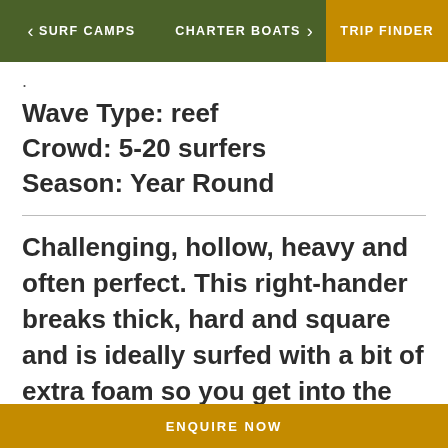< SURF CAMPS   CHARTER BOATS   >   TRIP FINDER
Wave Type: reef
Crowd: 5-20 surfers
Season: Year Round
Challenging, hollow, heavy and often perfect. This right-hander breaks thick, hard and square and is ideally surfed with a bit of extra foam so you get into the wave nice and early. Bank Vaults can handle up to triple over-head, but also works from around head high. It's a
ENQUIRE NOW